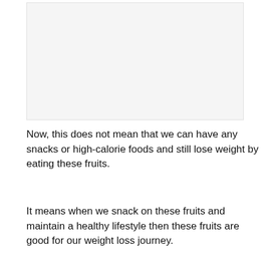[Figure (other): Image placeholder area, light gray background]
Now, this does not mean that we can have any snacks or high-calorie foods and still lose weight by eating these fruits.
It means when we snack on these fruits and maintain a healthy lifestyle then these fruits are good for our weight loss journey.